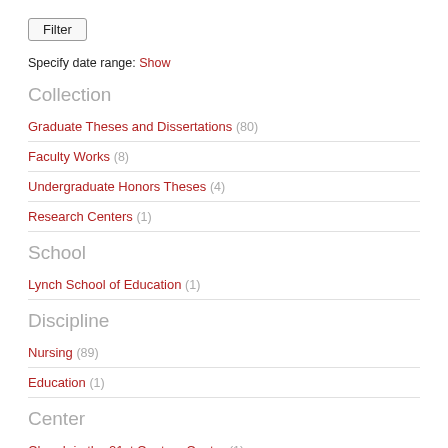Filter
Specify date range: Show
Collection
Graduate Theses and Dissertations (80)
Faculty Works (8)
Undergraduate Honors Theses (4)
Research Centers (1)
School
Lynch School of Education (1)
Discipline
Nursing (89)
Education (1)
Center
Church in the 21st Century Center (1)